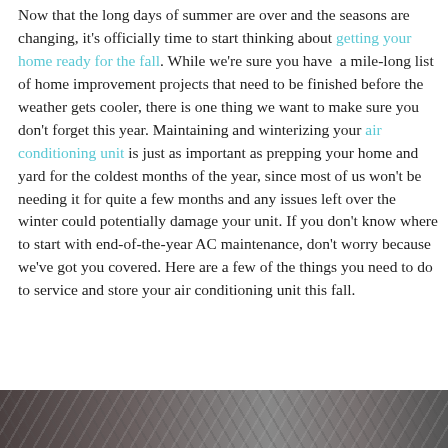Now that the long days of summer are over and the seasons are changing, it's officially time to start thinking about getting your home ready for the fall. While we're sure you have  a mile-long list of home improvement projects that need to be finished before the weather gets cooler, there is one thing we want to make sure you don't forget this year. Maintaining and winterizing your air conditioning unit is just as important as prepping your home and yard for the coldest months of the year, since most of us won't be needing it for quite a few months and any issues left over the winter could potentially damage your unit. If you don't know where to start with end-of-the-year AC maintenance, don't worry because we've got you covered. Here are a few of the things you need to do to service and store your air conditioning unit this fall.
[Figure (photo): Photograph of an air conditioning unit, showing metal grill/fin details, partially visible at the bottom of the page]